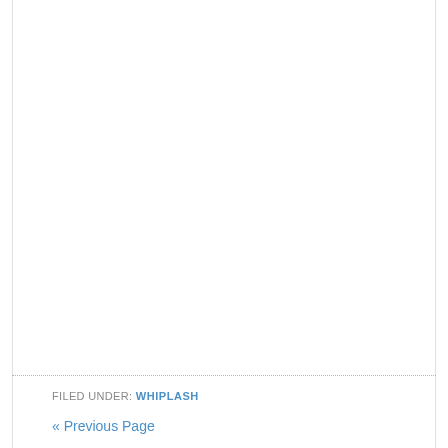FILED UNDER: WHIPLASH
« Previous Page